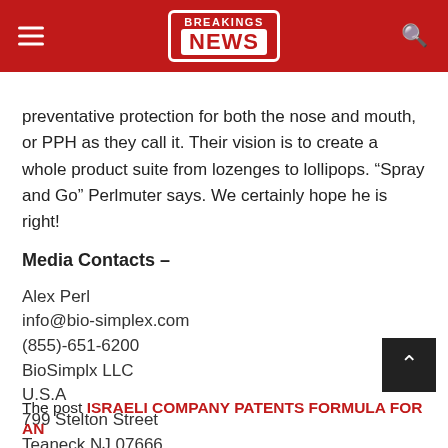BREAKINGS NEWS
preventative protection for both the nose and mouth, or PPH as they call it. Their vision is to create a whole product suite from lozenges to lollipops. “Spray and Go” Perlmuter says. We certainly hope he is right!
Media Contacts –
Alex Perl
info@bio-simplex.com
(855)-651-6200
BioSimplx LLC
U.S.A
799 Stelton Street
Teaneck NJ 07666
The post ISRAELI COMPANY PATENTS FORMULA FOR AN